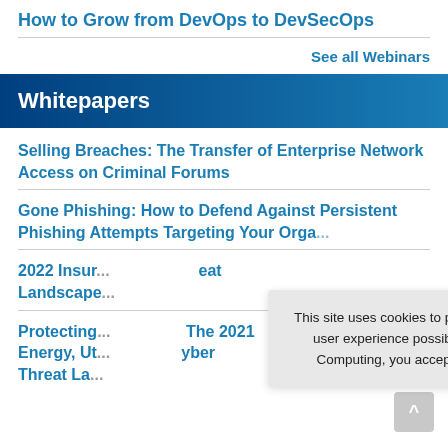How to Grow from DevOps to DevSecOps
See all Webinars
Whitepapers
Selling Breaches: The Transfer of Enterprise Network Access on Criminal Forums
Gone Phishing: How to Defend Against Persistent Phishing Attempts Targeting Your Orga...
2022 Insur... eat Landscape...
Protecting... The 2021 Energy, Ut... yber Threat La...
This site uses cookies to provide you with the best user experience possible. By using Network Computing, you accept our use of cookies.